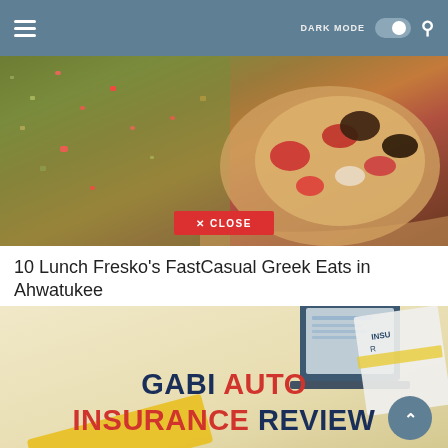Navigation bar with hamburger menu, DARK MODE toggle, and search icon
[Figure (photo): Close-up photo of Greek food including tabbouleh salad and a flatbread sandwich with red toppings, with a red CLOSE button overlay]
10 Lunch Fresko's FastCasual Greek Eats in Ahwatukee
[Figure (illustration): Insurance article banner with beige/tan background showing laptop and document illustrations with text GABI AUTO INSURANCE REVIEW in bold navy and red letters, with a back-to-top scroll button]